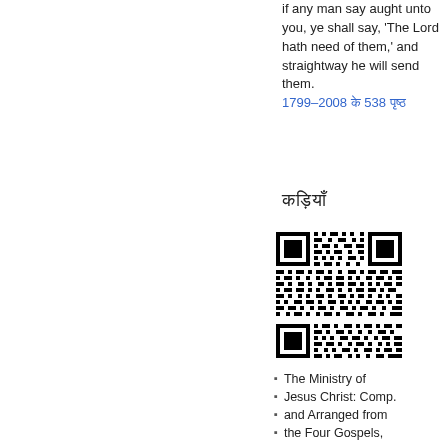if any man say aught unto you, ye shall say, 'The Lord hath need of them,' and straightway he will send them.
1799–2008 के 538 पृष्ठ
कड़ियाँ
[Figure (other): QR code image]
The Ministry of
Jesus Christ: Comp.
and Arranged from
the Four Gospels,